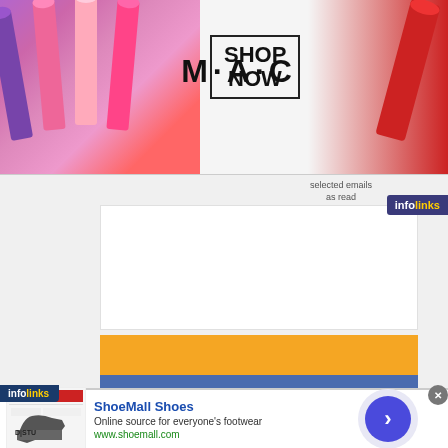[Figure (illustration): MAC cosmetics advertisement banner showing colorful lipsticks on left and right sides, MAC logo in center, SHOP NOW button in a box, and a close button]
selected emails as read
emails as unread
[Figure (logo): Infolinks logo - top right corner advertisement label]
[Figure (illustration): Quill.com advertisement - yellow and blue banner with Quill.com logo and tagline 'A small part of your job is 100% of ours.' with 'Brought to you by:' text]
Gmail: Tips, hacks and extensions for this
[Figure (logo): Infolinks logo - bottom left]
[Figure (illustration): ShoeMall Shoes advertisement with shoe thumbnail image, title, description, and navigation button]
ShoeMall Shoes
Online source for everyone's footwear
www.shoemall.com